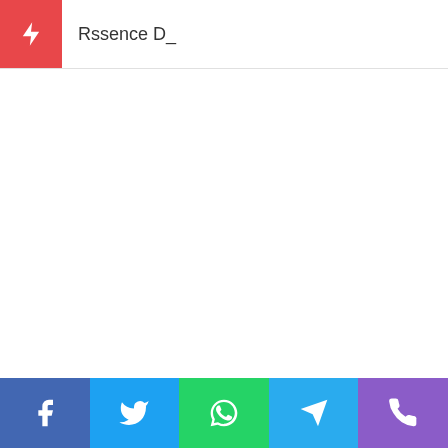Rssence D_
[Figure (infographic): Social media sharing bar with icons for Facebook, Twitter, WhatsApp, Telegram, and Phone]